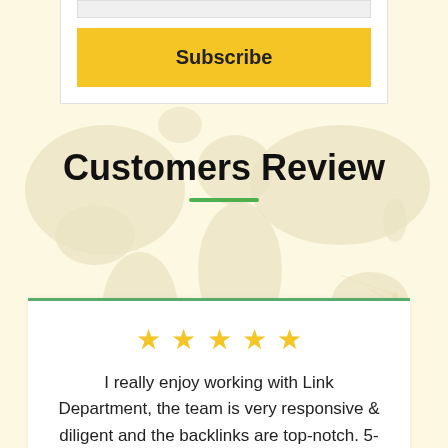[Figure (other): Subscribe button UI element with input placeholder and yellow Subscribe button]
[Figure (map): World map silhouette background in beige/tan color, used as decorative background]
Customers Review
[Figure (infographic): Five gold star rating icons displayed in a row]
I really enjoy working with Link Department, the team is very responsive & diligent and the backlinks are top-notch. 5-star recommendation!